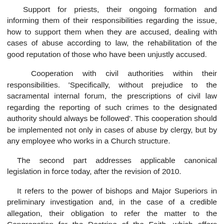Support for priests, their ongoing formation and informing them of their responsibilities regarding the issue, how to support them when they are accused, dealing with cases of abuse according to law, the rehabilitation of the good reputation of those who have been unjustly accused.
Cooperation with civil authorities within their responsibilities. 'Specifically, without prejudice to the sacramental internal forum, the prescriptions of civil law regarding the reporting of such crimes to the designated authority should always be followed'. This cooperation should be implemented not only in cases of abuse by clergy, but by any employee who works in a Church structure.
The second part addresses applicable canonical legislation in force today, after the revision of 2010.
It refers to the power of bishops and Major Superiors in preliminary investigation and, in the case of a credible allegation, their obligation to refer the matter to the Congregation for the Doctrine of the Faith, which offers guidance for the handling of the case.